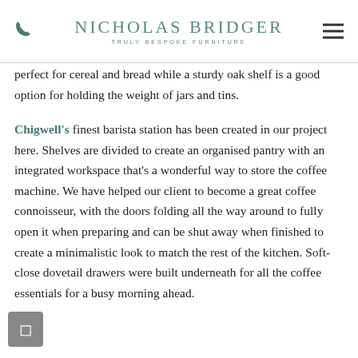Nicholas Bridger – Truly Bespoke Furniture
perfect for cereal and bread while a sturdy oak shelf is a good option for holding the weight of jars and tins.
Chigwell's finest barista station has been created in our project here. Shelves are divided to create an organised pantry with an integrated workspace that's a wonderful way to store the coffee machine. We have helped our client to become a great coffee connoisseur, with the doors folding all the way around to fully open it when preparing and can be shut away when finished to create a minimalistic look to match the rest of the kitchen. Soft-close dovetail drawers were built underneath for all the coffee essentials for a busy morning ahead.